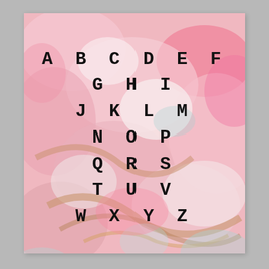[Figure (illustration): A framed artwork print displayed against a grey brick wall background. The print features an abstract pink, white, gold, and light blue marbled/floral paint texture background with the letters of the alphabet arranged in rows in a bold monospace typewriter font: A B C D E F / G H I / J K L M / N O P / Q R S / T U V / W X Y Z]